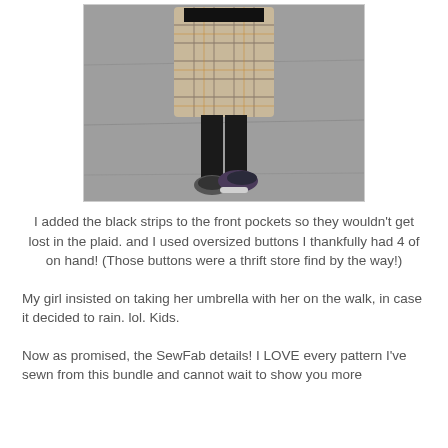[Figure (photo): A child walking away from camera wearing a plaid coat and black leggings with sneakers, on a gray asphalt surface. Face is redacted with a black bar.]
I added the black strips to the front pockets so they wouldn't get lost in the plaid. and I used oversized buttons I thankfully had 4 of on hand! (Those buttons were a thrift store find by the way!)
My girl insisted on taking her umbrella with her on the walk, in case it decided to rain. lol. Kids.
Now as promised, the SewFab details! I LOVE every pattern I've sewn from this bundle and cannot wait to show you more